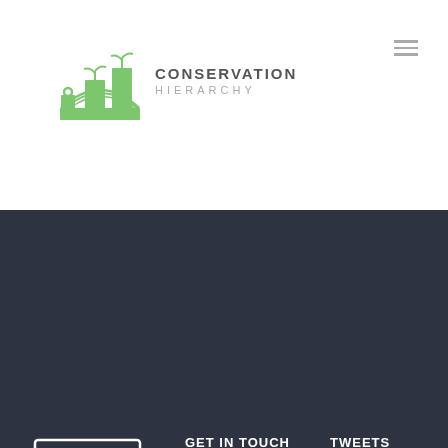[Figure (logo): Conservation Hierarchy logo with green plant/building icon and text 'CONSERVATION HIERARCHY' in header]
[Figure (logo): Conservation Hierarchy logo in white outline style in footer]
GET IN TOUCH
Your Name
TWEETS
Tweets by 4steps4theearth